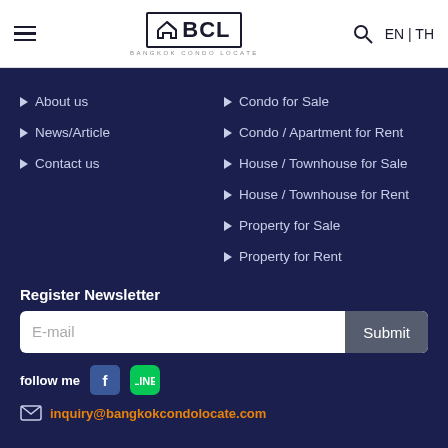[Figure (logo): BCL Bangkok Condo Locate logo with hamburger menu, search icon, and EN/TH language switcher in white header]
About us
News/Article
Contact us
Condo for Sale
Condo / Apartment for Rent
House / Townhouse for Sale
House / Townhouse for Rent
Property for Sale
Property for Rent
Register Newsletter
E-mail  Submit
follow me
inquiry@bangkokcondolocate.com